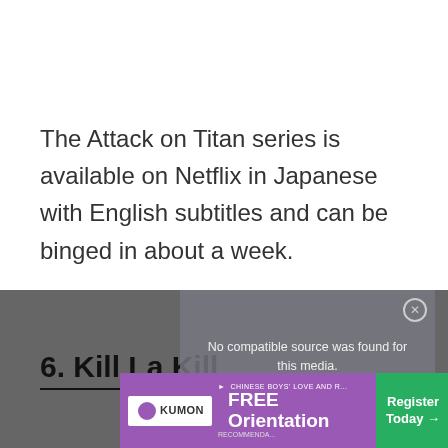The Attack on Titan series is available on Netflix in Japanese with English subtitles and can be binged in about a week.
[Figure (screenshot): Video player overlay showing 'No compatible source was found for this media.' message with a close (X) button, overlaid on a dark background.]
6. Kill La Kill
[Figure (screenshot): Advertisement banner for Kumon showing 'FREE Orientation' text and 'Register Today' call to action on a purple and green background.]